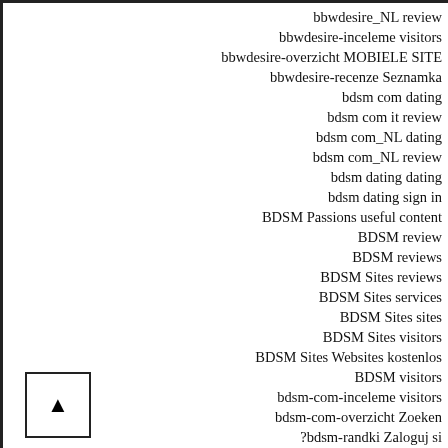bbwdesire_NL review
bbwdesire-inceleme visitors
bbwdesire-overzicht MOBIELE SITE
bbwdesire-recenze Seznamka
bdsm com dating
bdsm com it review
bdsm com_NL dating
bdsm com_NL review
bdsm dating dating
bdsm dating sign in
BDSM Passions useful content
BDSM review
BDSM reviews
BDSM Sites reviews
BDSM Sites services
BDSM Sites sites
BDSM Sites visitors
BDSM Sites Websites kostenlos
BDSM visitors
bdsm-com-inceleme visitors
bdsm-com-overzicht Zoeken
?bdsm-randki Zaloguj si
bdsm-siteleri hizmet
bdsm-siteleri Siteler
bdsm-sites-de kosten
bdsm-sites-de visitors
bdsm-sites-nl beoordelingen